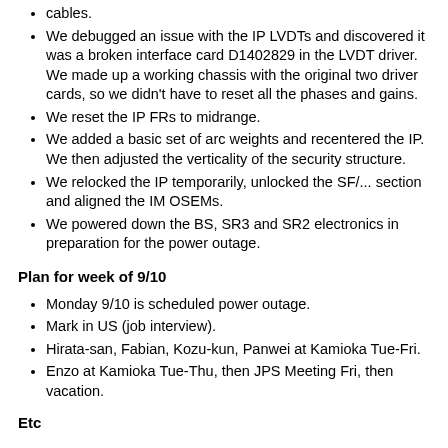cables.
We debugged an issue with the IP LVDTs and discovered it was a broken interface card D1402829 in the LVDT driver. We made up a working chassis with the original two driver cards, so we didn't have to reset all the phases and gains.
We reset the IP FRs to midrange.
We added a basic set of arc weights and recentered the IP. We then adjusted the verticality of the security structure.
We relocked the IP temporarily, unlocked the SF/... section and aligned the IM OSEMs.
We powered down the BS, SR3 and SR2 electronics in preparation for the power outage.
Plan for week of 9/10
Monday 9/10 is scheduled power outage.
Mark in US (job interview).
Hirata-san, Fabian, Kozu-kun, Panwei at Kamioka Tue-Fri.
Enzo at Kamioka Tue-Thu, then JPS Meeting Fri, then vacation.
Etc